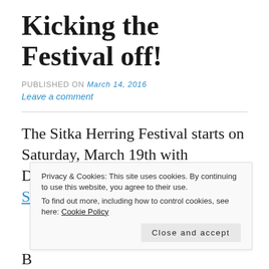Kicking the Festival off!
PUBLISHED ON March 14, 2016
Leave a comment
The Sitka Herring Festival starts on Saturday, March 19th with Discovery Days at the Sitka Sound Science Center and the start of the
Privacy & Cookies: This site uses cookies. By continuing to use this website, you agree to their use. To find out more, including how to control cookies, see here: Cookie Policy
Close and accept